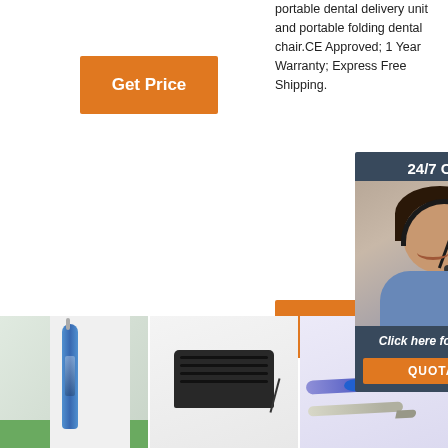portable dental delivery unit and portable folding dental chair.CE Approved; 1 Year Warranty; Express Free Shipping.
[Figure (other): Orange 'Get Price' button]
Limited Time Sale Easy Return. Shop Quality & Best Dental Lab/Mechanic Aquipment Consultants Directly from China Dental Lab/Mechanic Aquipment Consultants Suppliers.
[Figure (other): Orange 'Get Price' button (second)]
[Figure (other): 24/7 Online chat overlay panel with customer support agent photo and 'Click here for free chat!' text and QUOTATION button]
[Figure (other): Orange 'Get' button (partial, bottom)]
[Figure (photo): Dental handpiece/micromotor with blue grip on green surface]
[Figure (photo): Foot pedal/control switch device, dark colored on white background]
[Figure (photo): Dental pen tools with blue accent and TOP badge overlay]